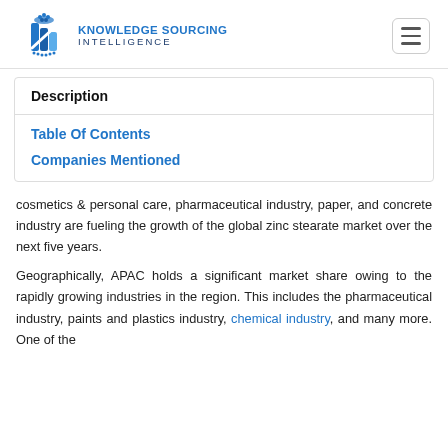[Figure (logo): Knowledge Sourcing Intelligence logo with blue pillar/bar chart icon and company name text]
Description
Table Of Contents
Companies Mentioned
cosmetics & personal care, pharmaceutical industry, paper, and concrete industry are fueling the growth of the global zinc stearate market over the next five years.
Geographically, APAC holds a significant market share owing to the rapidly growing industries in the region. This includes the pharmaceutical industry, paints and plastics industry, chemical industry, and many more. One of the